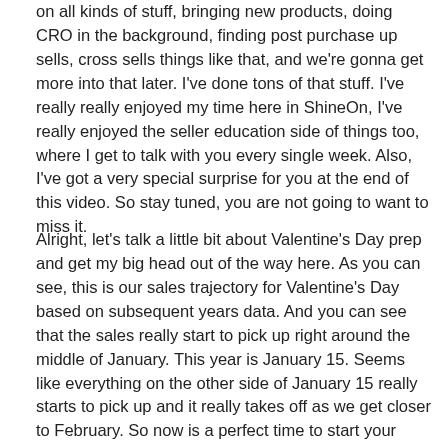on all kinds of stuff, bringing new products, doing CRO in the background, finding post purchase up sells, cross sells things like that, and we're gonna get more into that later. I've done tons of that stuff. I've really really enjoyed my time here in ShineOn, I've really enjoyed the seller education side of things too, where I get to talk with you every single week. Also, I've got a very special surprise for you at the end of this video. So stay tuned, you are not going to want to miss it.
Alright, let's talk a little bit about Valentine's Day prep and get my big head out of the way here. As you can see, this is our sales trajectory for Valentine's Day based on subsequent years data. And you can see that the sales really start to pick up right around the middle of January. This year is January 15. Seems like everything on the other side of January 15 really starts to pick up and it really takes off as we get closer to February. So now is a perfect time to start your testing. Valentine's Day is a huge gift giving holiday, and especially in the jewelry products. More and li...